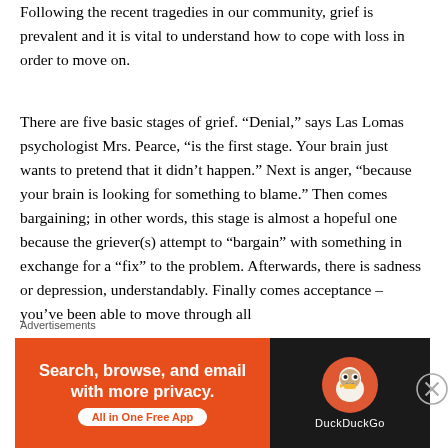Following the recent tragedies in our community, grief is prevalent and it is vital to understand how to cope with loss in order to move on.
There are five basic stages of grief. "Denial," says Las Lomas psychologist Mrs. Pearce, "is the first stage. Your brain just wants to pretend that it didn't happen." Next is anger, "because your brain is looking for something to blame." Then comes bargaining; in other words, this stage is almost a hopeful one because the griever(s) attempt to "bargain" with something in exchange for a "fix" to the problem. Afterwards, there is sadness or depression, understandably. Finally comes acceptance – you've been able to move through all
Advertisements
[Figure (other): DuckDuckGo advertisement banner with orange left panel reading 'Search, browse, and email with more privacy. All in One Free App' and dark right panel with DuckDuckGo logo and name.]